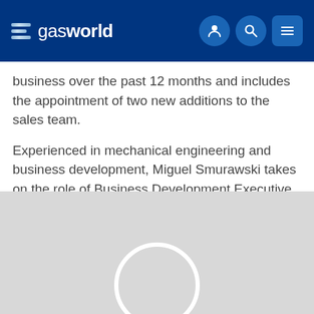gasworld
business over the past 12 months and includes the appointment of two new additions to the sales team.
Experienced in mechanical engineering and business development, Miguel Smurawski takes on the role of Business Development Executive while strategic business development specialist Alberto Castro will become the new Key Account Manager.
[Figure (photo): Placeholder image with a white circle outline on a light grey background, likely a person's portrait placeholder.]